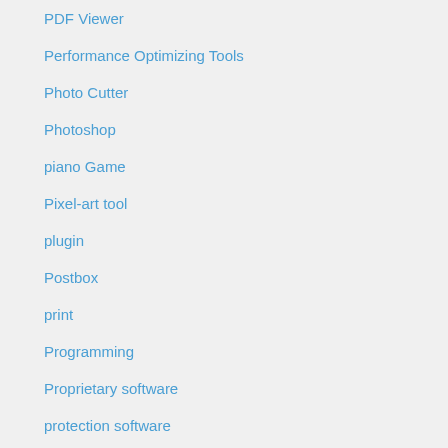PDF Viewer
Performance Optimizing Tools
Photo Cutter
Photoshop
piano Game
Pixel-art tool
plugin
Postbox
print
Programming
Proprietary software
protection software
Protector
recasting
recordings Tool